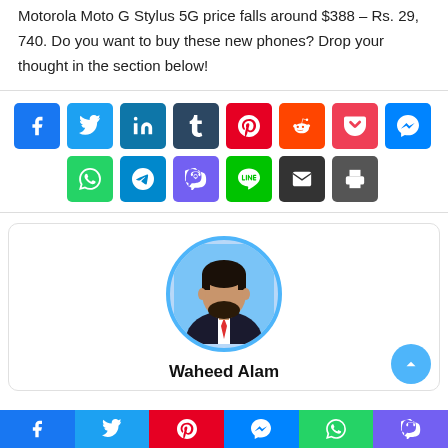Motorola Moto G Stylus 5G price falls around $388 – Rs. 29, 740. Do you want to buy these new phones? Drop your thought in the section below!
[Figure (infographic): Social media share buttons: Facebook, Twitter, LinkedIn, Tumblr, Pinterest, Reddit, Pocket, Messenger (row 1); WhatsApp, Telegram, Viber, Line, Email, Print (row 2)]
[Figure (photo): Author profile card for Waheed Alam with circular avatar photo of a bearded man in a suit]
Waheed Alam
[Figure (infographic): Bottom share bar with Facebook, Twitter, Pinterest, Messenger, WhatsApp, Viber icons]